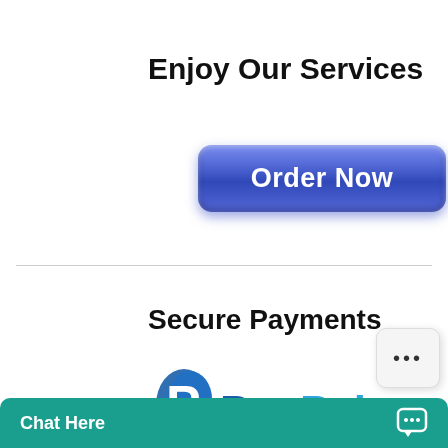Enjoy Our Services
[Figure (other): Blue rounded rectangular button with text 'Order Now' in white bold font, with glossy gradient effect]
Secure Payments
[Figure (logo): PayPal logo showing the blue P symbol and PayPal wordmark in blue text]
[Figure (other): Small popup overlay box with three dots (ellipsis) indicating loading or options]
Chat Here